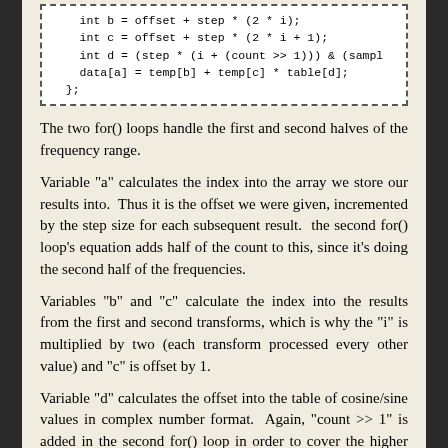[Figure (other): Code snippet showing int b, c, d assignments and data[a] calculation inside a dashed border box]
The two for() loops handle the first and second halves of the frequency range.
Variable "a" calculates the index into the array we store our results into.  Thus it is the offset we were given, incremented by the step size for each subsequent result.  the second for() loop's equation adds half of the count to this, since it's doing the second half of the frequencies.
Variables "b" and "c" calculate the index into the results from the first and second transforms, which is why the "i" is multiplied by two (each transform processed every other value) and "c" is offset by 1.
Variable "d" calculates the offset into the table of cosine/sine values in complex number format.  Again, "count >> 1" is added in the second for() loop in order to cover the higher range.  The result is then clipped so that it doesn't overflow